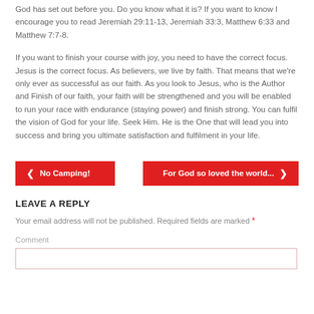God has set out before you. Do you know what it is? If you want to know I encourage you to read Jeremiah 29:11-13, Jeremiah 33:3, Matthew 6:33 and Matthew 7:7-8.
If you want to finish your course with joy, you need to have the correct focus. Jesus is the correct focus. As believers, we live by faith. That means that we're only ever as successful as our faith. As you look to Jesus, who is the Author and Finish of our faith, your faith will be strengthened and you will be enabled to run your race with endurance (staying power) and finish strong. You can fulfil the vision of God for your life. Seek Him. He is the One that will lead you into success and bring you ultimate satisfaction and fulfilment in your life.
< No Camping!
For God so loved the world... >
LEAVE A REPLY
Your email address will not be published. Required fields are marked *
Comment